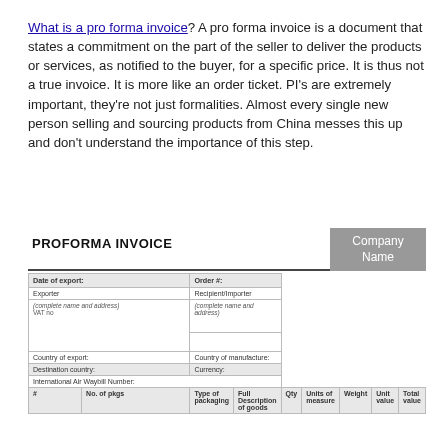What is a pro forma invoice? A pro forma invoice is a document that states a commitment on the part of the seller to deliver the products or services, as notified to the buyer, for a specific price. It is thus not a true invoice. It is more like an order ticket. PI's are extremely important, they're not just formalities. Almost every single new person selling and sourcing products from China messes this up and don't understand the importance of this step.
[Figure (other): A sample Proforma Invoice form with fields for Date of export, Order #, Exporter, Recipient/Importer (complete name and address), VAT no, Country of export, Country of manufacture, Destination country, Currency, International Air Waybill Number, and a table with columns: #, No. of pkgs, Type of packaging, Full Description of goods, Qty, Units of measure, Weight, Unit value, Total value. Company Name box in top right.]